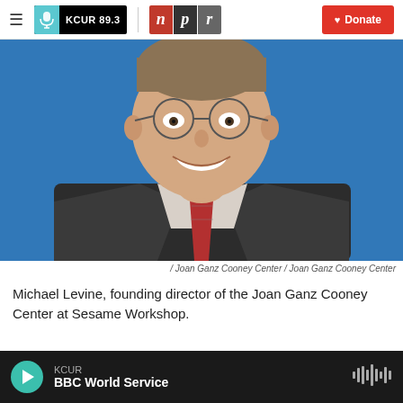KCUR 89.3 | npr | Donate
[Figure (photo): Headshot of Michael Levine, a man wearing glasses, a dark suit jacket, dress shirt and red striped tie, smiling against a blue background.]
/ Joan Ganz Cooney Center / Joan Ganz Cooney Center
Michael Levine, founding director of the Joan Ganz Cooney Center at Sesame Workshop.
KCUR | BBC World Service